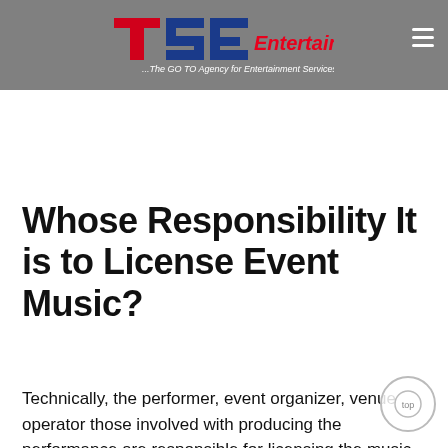[Figure (logo): TSE Entertainment logo with text '...The GO TO Agency for Entertainment Services' on a gray header bar]
Whose Responsibility It is to License Event Music?
Technically, the performer, event organizer, venue operator those involved with producing the performance are responsible for licensing the music that is performed. The law says all who participate in,